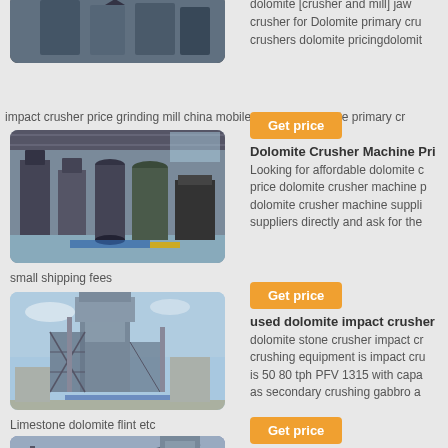[Figure (photo): Partial view of industrial mining/crushing machine at top left]
dolomite [crusher and mill] jaw crusher for Dolomite primary crushers dolomite pricingdolomit
impact crusher price grinding mill china mobile dolomite dolomite primary cr
[Figure (photo): Industrial factory interior with large milling/grinding machines]
[Figure (other): Get price button]
Dolomite Crusher Machine Pri
Looking for affordable dolomite c price dolomite crusher machine p dolomite crusher machine suppli suppliers directly and ask for the
small shipping fees
[Figure (photo): Outdoor industrial crushing/processing plant with steel structure towers]
[Figure (other): Get price button]
used dolomite impact crusher
dolomite stone crusher impact cr crushing equipment is impact cru is 50 80 tph PFV 1315 with capa as secondary crushing gabbro a
Limestone dolomite flint etc
[Figure (photo): Partial view of outdoor industrial conveyor/crushing plant]
[Figure (other): Get price button]
portable dolomite cone crushe